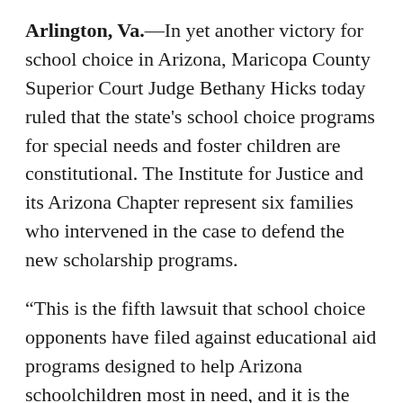Arlington, Va.—In yet another victory for school choice in Arizona, Maricopa County Superior Court Judge Bethany Hicks today ruled that the state's school choice programs for special needs and foster children are constitutional. The Institute for Justice and its Arizona Chapter represent six families who intervened in the case to defend the new scholarship programs.
“This is the fifth lawsuit that school choice opponents have filed against educational aid programs designed to help Arizona schoolchildren most in need, and it is the fifth time that courts have sided with kids,” said Tim Keller, executive director of the Institute for Justice Arizona Chapter. “It is time for opponents of genuine education reform to get the message and stop these frivolous legal battles. All our clients want is a good